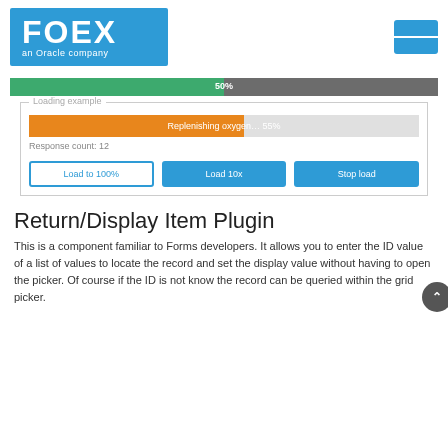[Figure (logo): FOEX an Oracle company logo on blue background]
[Figure (screenshot): Progress bar at 50% in green/grey, and Loading example section with orange progress bar at 55% labeled 'Replenishing oxygen... 55%', Response count: 12, and three buttons: Load to 100%, Load 10x, Stop load]
Return/Display Item Plugin
This is a component familiar to Forms developers. It allows you to enter the ID value of a list of values to locate the record and set the display value without having to open the picker. Of course if the ID is not know the record can be queried within the grid picker.